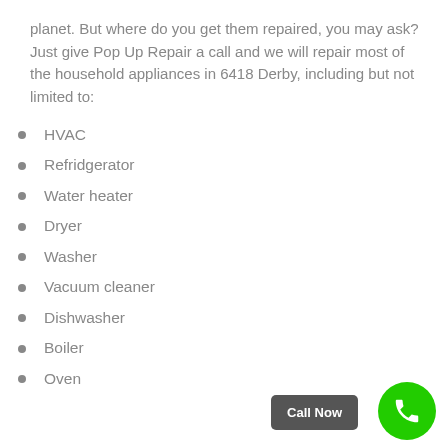planet. But where do you get them repaired, you may ask? Just give Pop Up Repair a call and we will repair most of the household appliances in 6418 Derby, including but not limited to:
HVAC
Refridgerator
Water heater
Dryer
Washer
Vacuum cleaner
Dishwasher
Boiler
Oven